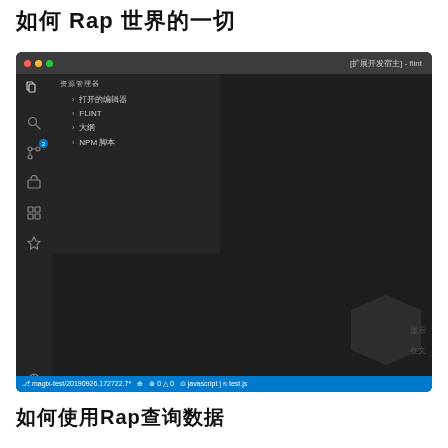如何 Rap 世界的一切
[Figure (screenshot): VS Code editor window showing Explorer panel open with sections: 打开的编辑器, FLINT, 大纲, NPM 脚本. Dark theme interface with sidebar icons and blue status bar showing magix-test/20190926.172722.7* branch and test.js file.]
如何使用Rap查询数据